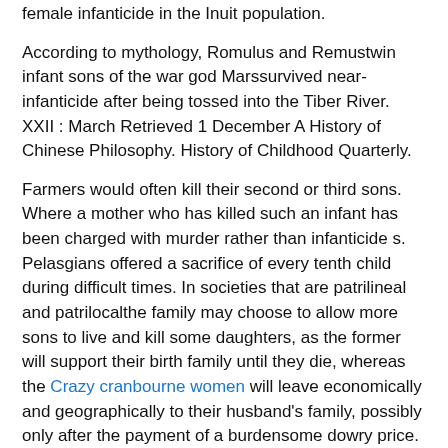female infanticide in the Inuit population.
According to mythology, Romulus and Remustwin infant sons of the war god Marssurvived near-infanticide after being tossed into the Tiber River. XXII : March Retrieved 1 December A History of Chinese Philosophy. History of Childhood Quarterly.
Farmers would often kill their second or third sons. Where a mother who has killed such an infant has been charged with murder rather than infanticide s. Pelasgians offered a sacrifice of every tenth child during difficult times. In societies that are patrilineal and patrilocalthe family may choose to allow more sons to live and kill some daughters, as the former will support their birth family until they die, whereas the Crazy cranbourne women will leave economically and geographically to their husband's family, possibly only after the payment of a burdensome dowry price.
Main article: See the main article on Child Sacrifice...